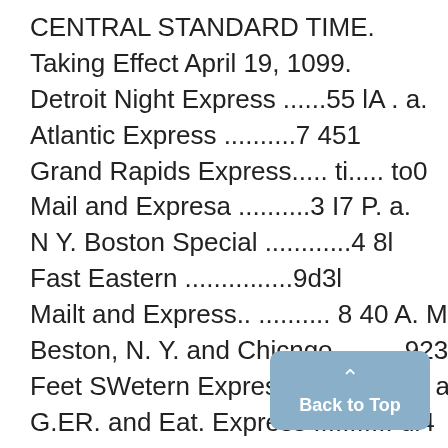CENTRAL STANDARD TIME.
Taking Effect April 19, 1099.
Detroit Night Express ......55 lA . a.
Atlantic Express ..........7 451
Grand Rapids Express..... ti..... to0
Mail and Expresa ..........3 I7 P. a.
N Y. Boston Special ............4 8l
Fast Eastern ...............9d3l
Mailt and Express.. .......... 8 40 A. M.
Beston, N. Y. and Chicngo..........923"
Feet SWetern Exprest.......... 1 s8 . a.
G.ER. and Eat. Express ........... dl4
Chicage Night Express ........... 94
Farluc Express...............12 3lSA. a.